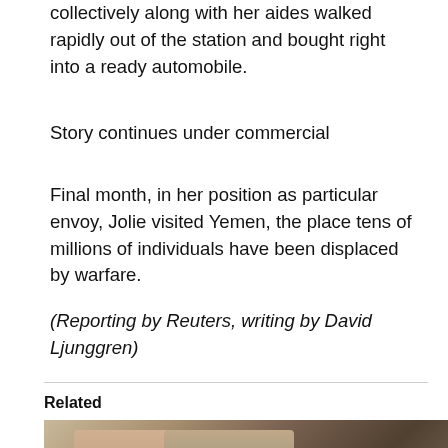collectively along with her aides walked rapidly out of the station and bought right into a ready automobile.
Story continues under commercial
Final month, in her position as particular envoy, Jolie visited Yemen, the place tens of millions of individuals have been displaced by warfare.
(Reporting by Reuters, writing by David Ljunggren)
Related
[Figure (photo): Two men facing each other and talking, with a third person visible in the background, in an indoor setting with green chairs.]